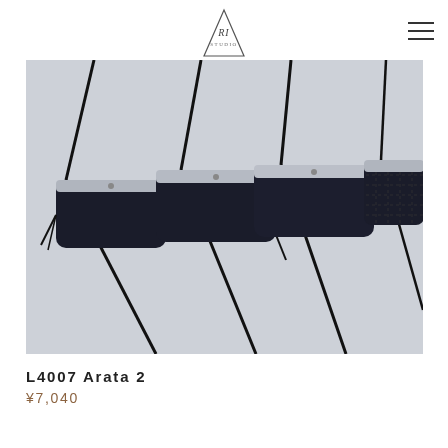[Figure (logo): Triangle shaped brand logo with stylized letters inside, centered at top]
[Figure (photo): Product photo showing four black crossbody/shoulder bags hanging by their straps against a light gray background. The bags are dark navy/black leather with silver hardware and a light-colored label strip across the front.]
L4007 Arata 2
¥7,040